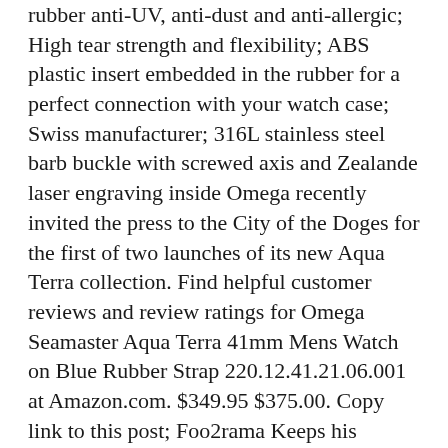rubber anti-UV, anti-dust and anti-allergic; High tear strength and flexibility; ABS plastic insert embedded in the rubber for a perfect connection with your watch case; Swiss manufacturer; 316L stainless steel barb buckle with screwed axis and Zealande laser engraving inside Omega recently invited the press to the City of the Doges for the first of two launches of its new Aqua Terra collection. Find helpful customer reviews and review ratings for Omega Seamaster Aqua Terra 41mm Mens Watch on Blue Rubber Strap 220.12.41.21.06.001 at Amazon.com. $349.95 $375.00. Copy link to this post; Foo2rama Keeps his worms in a ball instead of a can. Technical excellence and elegance beyond compare: Discover the watches of the Seamaster Aqua Terra 150M Collection on the Official OMEGA® Website! Since then Omega has promised that over the next few years it would slowly replace all in-house made movements with those which are METAS-certified . This strap is a sturdy, dependable all-rounder, available to purchase now from WatchObsession. It comes full kit with all box, papers, and Stamped and Dated Omega Factory Warranty Card from an